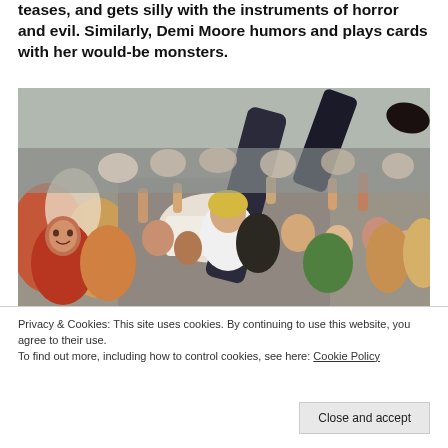teases, and gets silly with the instruments of horror and evil. Similarly, Demi Moore humors and plays cards with her would-be monsters.
[Figure (photo): A large crowd at an outdoor concert or event. A person is crowd surfing, being held up and passed over the heads of the dense crowd. People are reaching up with their hands. The scene is energetic and chaotic.]
Privacy & Cookies: This site uses cookies. By continuing to use this website, you agree to their use.
To find out more, including how to control cookies, see here: Cookie Policy